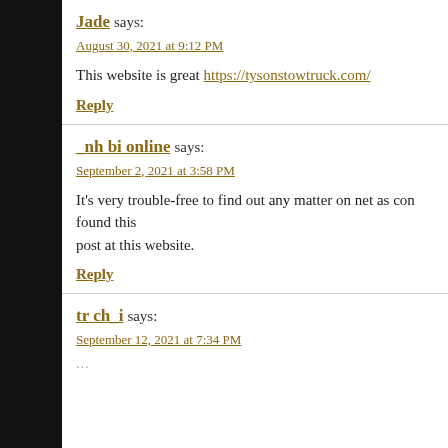Jade says: August 30, 2021 at 9:12 PM
This website is great https://tysonstowtruck.com/
Reply
_nh bi online says: September 2, 2021 at 3:58 PM
It's very trouble-free to find out any matter on net as con found this post at this website.
Reply
tr ch_i says: September 12, 2021 at 7:34 PM